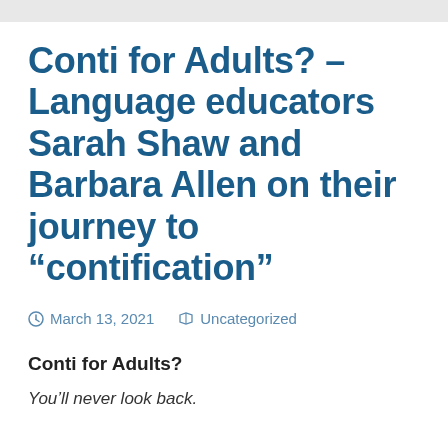Conti for Adults? – Language educators Sarah Shaw and Barbara Allen on their journey to “contification”
March 13, 2021   Uncategorized
Conti for Adults?
You’ll never look back.